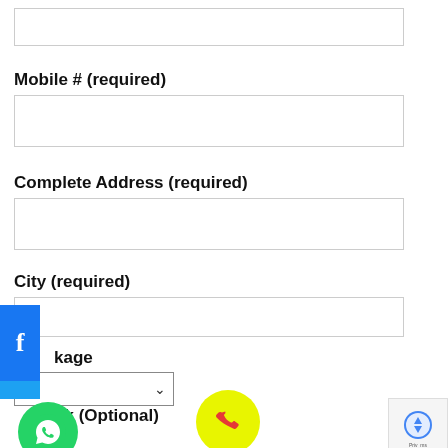(empty input field at top)
Mobile # (required)
(mobile number input field)
Complete Address (required)
(address input field)
City (required)
(city input field)
kage (package dropdown label, partially visible)
--- (dropdown select with arrow)
ck (Optional) (partially visible label)